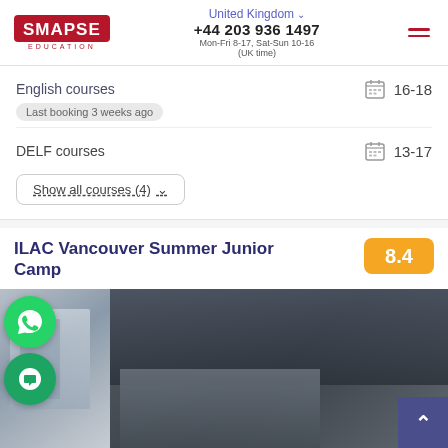[Figure (logo): SMAPSE EDUCATION logo in dark red/maroon color on white background]
United Kingdom ∨
+44 203 936 1497
Mon-Fri 8-17, Sat-Sun 10-16 (UK time)
[Figure (other): Hamburger menu icon (three horizontal dark red lines)]
English courses
[Figure (other): Calendar icon]
16-18
Last booking 3 weeks ago
DELF courses
[Figure (other): Calendar icon]
13-17
Show all courses (4) ∨
ILAC Vancouver Summer Junior Camp
8.4
[Figure (photo): Photo of building exterior, dark architectural image with steel and glass]
[Figure (other): WhatsApp floating button (green circle with phone icon)]
[Figure (other): Chat floating button (green circle with chat icon)]